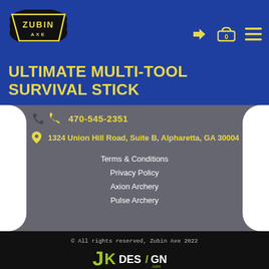[Figure (logo): Zubin Axe logo - black trapezoid shape with yellow text ZUBIN on top and AXE below, yellow border]
[Figure (infographic): Navigation bar icons: yellow login arrow icon, yellow shopping cart icon with 0, yellow hamburger menu icon]
ULTIMATE MULTI-TOOL SURVIVAL STICK
470-545-2351
1324 Union Hill Road, Suite B, Alpharetta, GA 30004
Terms & Conditions
Privacy Policy
Axion Archery
Pulse Archery
© All rights reserved, Zubin Axe 2022
[Figure (logo): JK DESIGN logo with stylized green J and K letters, white DESIGN text with green slash]